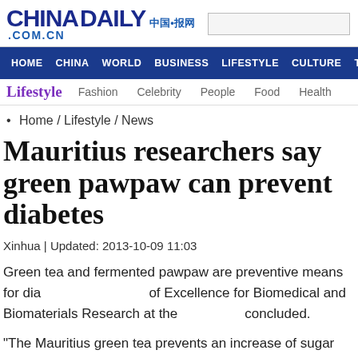CHINADAILY .COM.CN
HOME  CHINA  WORLD  BUSINESS  LIFESTYLE  CULTURE  TRAVEL
Lifestyle  Fashion  Celebrity  People  Food  Health
• Home / Lifestyle / News
Mauritius researchers say green pawpaw can prevent diabetes
Xinhua | Updated: 2013-10-09 11:03
Green tea and fermented pawpaw are preventive means for dia... of Excellence for Biomedical and Biomaterials Research at the... concluded.
"The Mauritius green tea prevents an increase of sugar levels i...